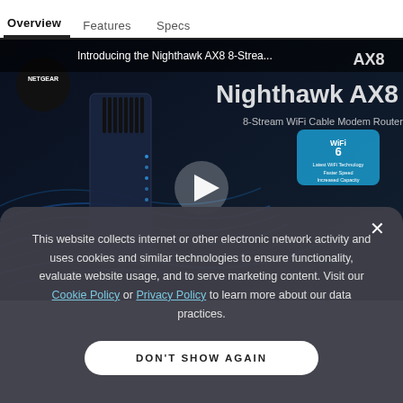Overview   Features   Specs
[Figure (screenshot): Netgear Nighthawk AX8 8-Stream WiFi Cable Modem Router product video thumbnail with dark background showing router device and blue light trails. Play button in center. Text: 'Introducing the Nighthawk AX8 8-Strea...' and 'Nighthawk AX8', '8-Stream WiFi Cable Modem Router', WiFi 6 badge, NETGEAR logo.]
This website collects internet or other electronic network activity and uses cookies and similar technologies to ensure functionality, evaluate website usage, and to serve marketing content. Visit our Cookie Policy or Privacy Policy to learn more about our data practices.
DON'T SHOW AGAIN